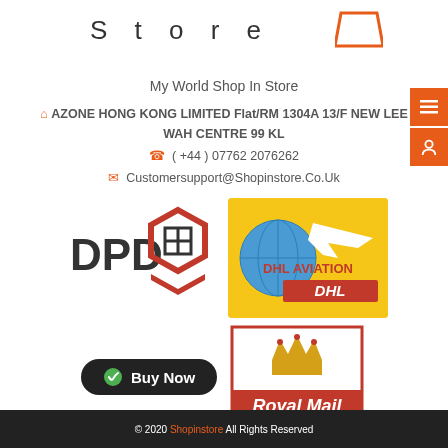Store
My World Shop In Store
AZONE HONG KONG LIMITED Flat/RM 1304A 13/F NEW LEE WAH CENTRE 99 KL
( +44 ) 07762 2076262
Customersupport@Shopinstore.Co.Uk
[Figure (logo): DPD courier logo with red hexagon box icon]
[Figure (logo): DHL Aviation logo on yellow background with globe and plane]
[Figure (logo): Royal Mail logo with crown]
Buy Now
© 2020 Shopinstore All Rights Reserved